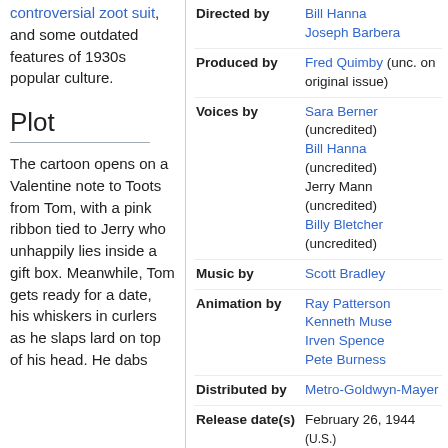controversial zoot suit, and some outdated features of 1930s popular culture.
Plot
The cartoon opens on a Valentine note to Toots from Tom, with a pink ribbon tied to Jerry who unhappily lies inside a gift box. Meanwhile, Tom gets ready for a date, his whiskers in curlers as he slaps lard on top of his head. He dabs
| Field | Value |
| --- | --- |
| Directed by | Bill Hanna
Joseph Barbera |
| Produced by | Fred Quimby (unc. on original issue) |
| Voices by | Sara Berner (uncredited)
Bill Hanna (uncredited)
Jerry Mann (uncredited)
Billy Bletcher (uncredited) |
| Music by | Scott Bradley |
| Animation by | Ray Patterson
Kenneth Muse
Irven Spence
Pete Burness |
| Distributed by | Metro-Goldwyn-Mayer |
| Release date(s) | February 26, 1944 (U.S.)
October 7, 1950 (U.S. re-release) |
| Color process | Technicolor |
| Running time | 7:04 |
| Language | English |
| Preceded by | Baby Puss |